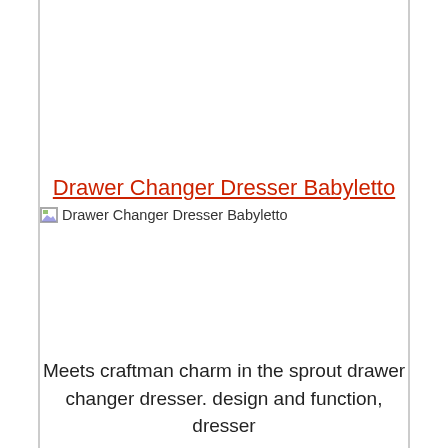Drawer Changer Dresser Babyletto
[Figure (other): Broken image placeholder with alt text 'Drawer Changer Dresser Babyletto']
Meets craftman charm in the sprout drawer changer dresser. design and function, dresser